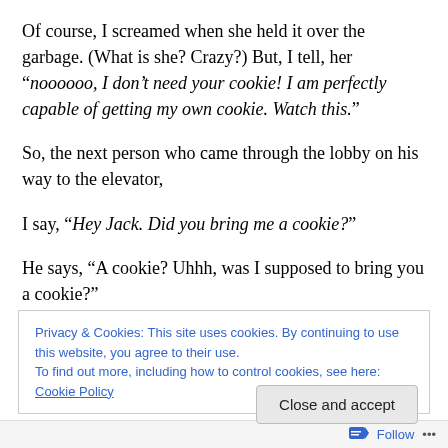Of course, I screamed when she held it over the garbage. (What is she? Crazy?) But, I tell, her “noooooo, I don’t need your cookie! I am perfectly capable of getting my own cookie. Watch this.”
So, the next person who came through the lobby on his way to the elevator,
I say, “Hey Jack. Did you bring me a cookie?”
He says, “A cookie? Uhhh, was I supposed to bring you a cookie?”
Privacy & Cookies: This site uses cookies. By continuing to use this website, you agree to their use.
To find out more, including how to control cookies, see here: Cookie Policy
Follow •••